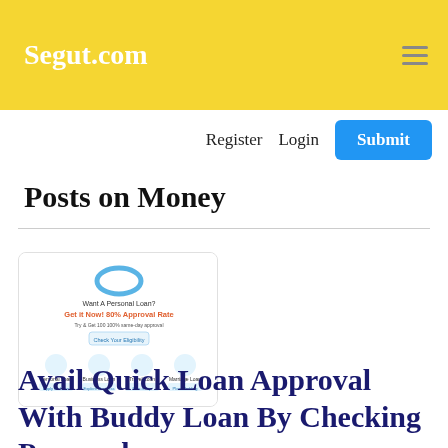Segut.com
Register   Login   Submit
Posts on Money
[Figure (screenshot): Screenshot of Buddy Loan website showing personal loan, business loan, travel loan, marriage loan, car loan, ten minute loan, medical loan, education loan options with icons and an 80% approval rate headline.]
Avail Quick Loan Approval With Buddy Loan By Checking Personal